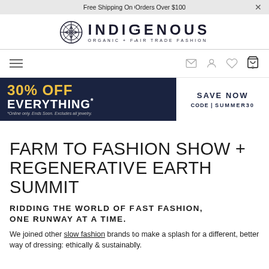Free Shipping On Orders Over $100
[Figure (logo): Indigenous Organic + Fair Trade Fashion logo with circular compass-style icon]
[Figure (infographic): Navigation bar with hamburger menu on left and icons (email, account, wishlist, cart) on right]
[Figure (infographic): Promotional banner: 30% OFF EVERYTHING* SAVE NOW CODE | SUMMER30 on dark navy background]
FARM TO FASHION SHOW + REGENERATIVE EARTH SUMMIT
RIDDING THE WORLD OF FAST FASHION, ONE RUNWAY AT A TIME.
We joined other slow fashion brands to make a splash for a different, better way of dressing: ethically & sustainably.